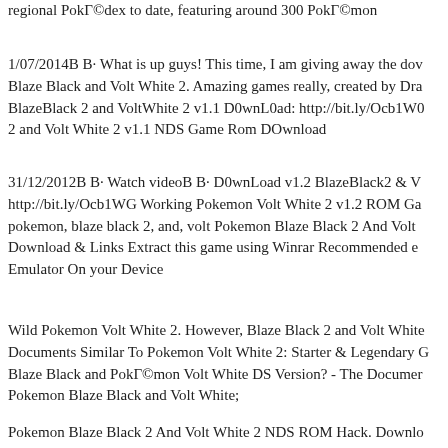regional PokГ©dex to date, featuring around 300 PokГ©mon
1/07/2014В В· What is up guys! This time, I am giving away the dow Blaze Black and Volt White 2. Amazing games really, created by Dra BlazeBlack 2 and VoltWhite 2 v1.1 D0wnL0ad: http://bit.ly/Ocb1W0 2 and Volt White 2 v1.1 NDS Game Rom DOwnload
31/12/2012В В· Watch videoВ В· D0wnLoad v1.2 BlazeBlack2 & V http://bit.ly/Ocb1WG Working Pokemon Volt White 2 v1.2 ROM Ga pokemon, blaze black 2, and, volt Pokemon Blaze Black 2 And Volt Download & Links Extract this game using Winrar Recommended e Emulator On your Device
Wild Pokemon Volt White 2. However, Blaze Black 2 and Volt White Documents Similar To Pokemon Volt White 2: Starter & Legendary G Blaze Black and PokГ©mon Volt White DS Version? - The Documer Pokemon Blaze Black and Volt White;
Pokemon Blaze Black 2 And Volt White 2 NDS ROM Hack. Downlo